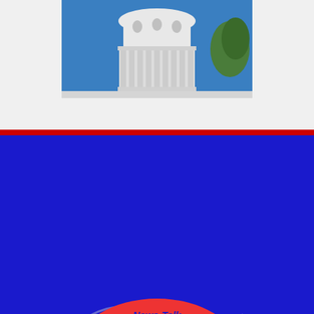[Figure (photo): Partial view of a white domed government capitol building against a blue sky, with a green tree visible on the right side. Only the upper dome and columns are visible.]
[Figure (logo): KFIZ radio station logo. Red oval shape with blue text reading 'News-Talk KFIZ am1450 100.7fm'. Below the oval is a banner ribbon reading '100 YEARS' with '1922' on the left and '2022' on the right. Blue swooping arc lines surround the oval on a blue background.]
Contact KFIZ
Advertise
Contest Rules